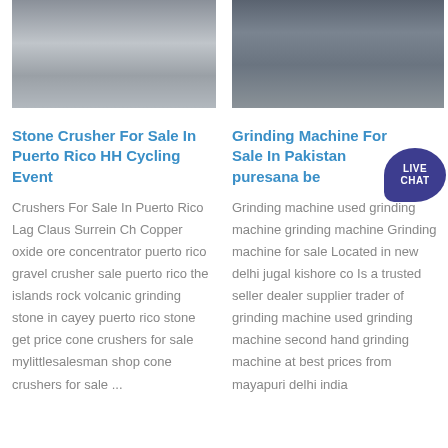[Figure (photo): Industrial crusher machinery on construction site, top portion visible]
[Figure (photo): Large industrial pipes/grinding machine, top portion visible]
Stone Crusher For Sale In Puerto Rico HH Cycling Event
Grinding Machine For Sale In Pakistan puresana be
Crushers For Sale In Puerto Rico Lag Claus Surrein Ch Copper oxide ore concentrator puerto rico gravel crusher sale puerto rico the islands rock volcanic grinding stone in cayey puerto rico stone get price cone crushers for sale mylittlesalesman shop cone crushers for sale ...
Grinding machine used grinding machine grinding machine Grinding machine for sale Located in new delhi jugal kishore co Is a trusted seller dealer supplier trader of grinding machine used grinding machine second hand grinding machine at best prices from mayapuri delhi india